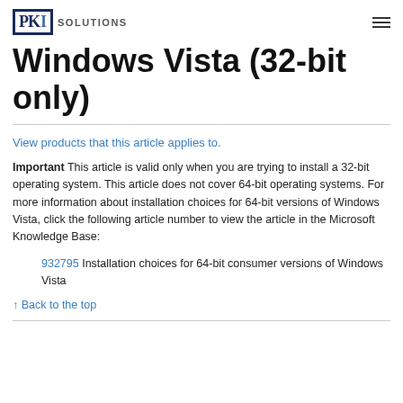PKI SOLUTIONS
Windows Vista (32-bit only)
View products that this article applies to.
Important This article is valid only when you are trying to install a 32-bit operating system. This article does not cover 64-bit operating systems. For more information about installation choices for 64-bit versions of Windows Vista, click the following article number to view the article in the Microsoft Knowledge Base:
932795 Installation choices for 64-bit consumer versions of Windows Vista
↑ Back to the top